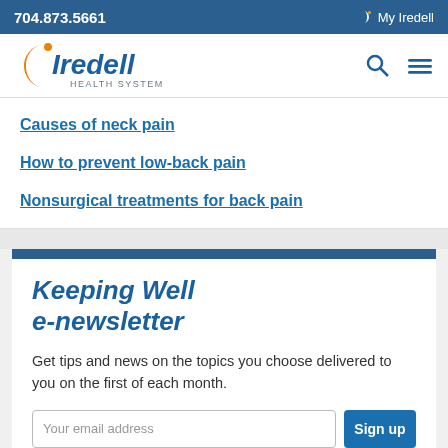704.873.5661   My Iredell
[Figure (logo): Iredell Health System logo with orange crescent and blue text, plus search and menu icons on right]
Causes of neck pain
How to prevent low-back pain
Nonsurgical treatments for back pain
Keeping Well e-newsletter
Get tips and news on the topics you choose delivered to you on the first of each month.